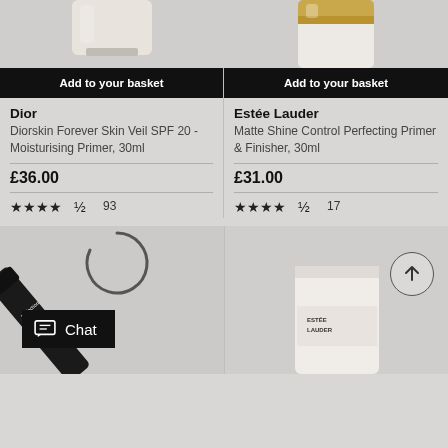[Figure (photo): Dior product bottle top portion, beige/cream cylinder with metallic band, cropped at top]
Add to your basket
Dior
Diorskin Forever Skin Veil SPF 20 - Moisturising Primer, 30ml
£36.00
93
[Figure (photo): Estée Lauder product bottle top portion, white cylinder with gold cap]
Add to your basket
Estée Lauder
Matte Shine Control Perfecting Primer & Finisher, 30ml
£31.00
17
[Figure (photo): Dark tube product (Perfection SPF 50) positioned diagonally]
[Figure (photo): Estée Lauder white product tube, bottom portion visible]
[Figure (screenshot): Chat widget button with speech bubble icon and Chat text]
[Figure (other): Scroll to top circular button with upward arrow]